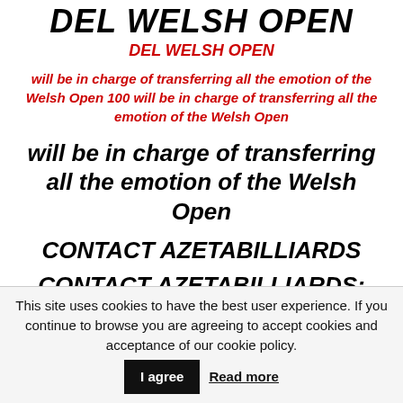DEL WELSH OPEN
DEL WELSH OPEN
will be in charge of transferring all the emotion of the Welsh Open 100 will be in charge of transferring all the emotion of the Welsh Open
will be in charge of transferring all the emotion of the Welsh Open
CONTACT AZETABILLIARDS
CONTACT AZETABILLIARDS: CONTACT AZETABILLIARDS
This site uses cookies to have the best user experience. If you continue to browse you are agreeing to accept cookies and acceptance of our cookie policy. I agree Read more